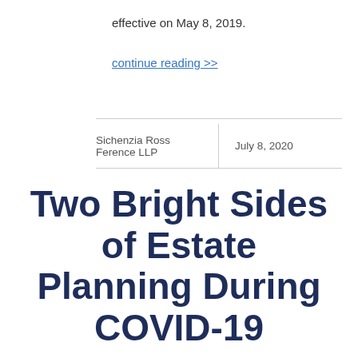effective on May 8, 2019.
continue reading >>
| Sichenzia Ross Ference LLP | July 8, 2020 |
| --- | --- |
Two Bright Sides of Estate Planning During COVID-19